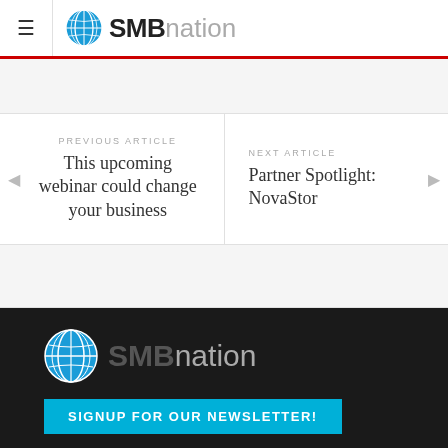SMBnation
PREVIOUS ARTICLE
This upcoming webinar could change your business
NEXT ARTICLE
Partner Spotlight: NovaStor
[Figure (logo): SMBnation footer logo with globe icon and newsletter signup button]
SIGNUP FOR OUR NEWSLETTER!